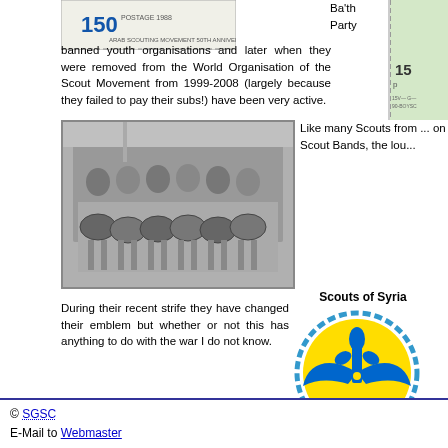[Figure (photo): Partial stamp showing '150' postage, Arab Scouting Movement anniversary, top left area]
Ba'th Party banned youth organisations and later when they were removed from the World Organisation of the Scout Movement from 1999-2008 (largely because they failed to pay their subs!) have been very active.
[Figure (photo): Partial stamp showing '15p' value, right edge, green design]
[Figure (photo): Black and white photograph of a Scout band with drums marching]
Like many Scouts from ... on Scout Bands, the lou...
Scouts of Syria
[Figure (logo): Scouts of Syria circular badge - yellow circle with blue fleur-de-lis and wings, Arabic text, rope border]
In 201... their e... Syiar...
During their recent strife they have changed their emblem but whether or not this has anything to do with the war I do not know.
© SGSC E-Mail to Webmaster